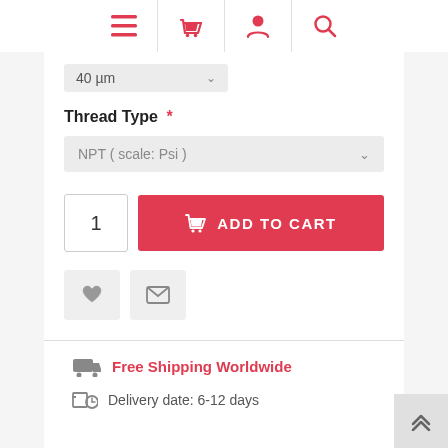[Figure (screenshot): Navigation bar with menu, cart, user, and search icons in red/coral on white background with teal bottom border]
[Figure (other): Dropdown selector showing '40 µm' with down arrow]
Thread Type *
[Figure (other): Dropdown selector showing 'NPT ( scale: Psi )' with down arrow]
[Figure (other): Quantity input box showing '1' and red 'ADD TO CART' button with basket icon]
[Figure (other): Heart (wishlist) button and envelope (email) button]
Free Shipping Worldwide
Delivery date: 6-12 days